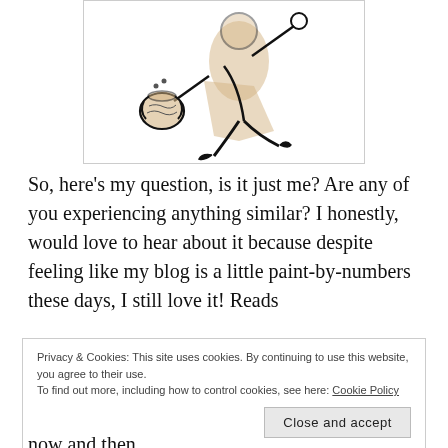[Figure (illustration): A cartoon sketch illustration of an abstract figure carrying a jug or pot, drawn in black ink with tan/beige wash, depicted in a walking or striding pose.]
So, here’s my question, is it just me? Are any of you experiencing anything similar? I honestly, would love to hear about it because despite feeling like my blog is a little paint-by-numbers these days, I still love it! Reads
Privacy & Cookies: This site uses cookies. By continuing to use this website, you agree to their use.
To find out more, including how to control cookies, see here: Cookie Policy
now and then